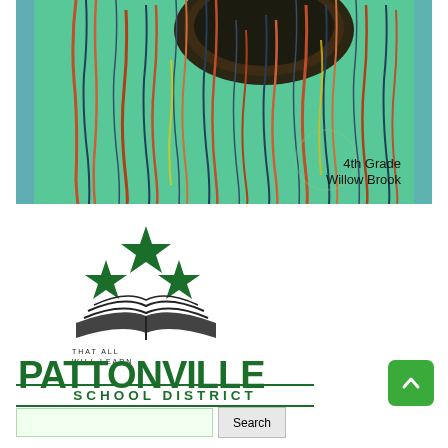[Figure (photo): Close-up artwork of what appears to be a jellyfish or tree roots with green, red, orange, and dark blue streaks on a teal/green background. Text overlay reads '4th Grade Willow Brook'.]
4th Grade
Willow Brook
[Figure (logo): Pattonville School District logo with three green stars above an open book with swoosh lines, tagline 'THAT ALL WILL LEARN', and large text 'PATTONVILLE SCHOOL DISTRICT']
Search